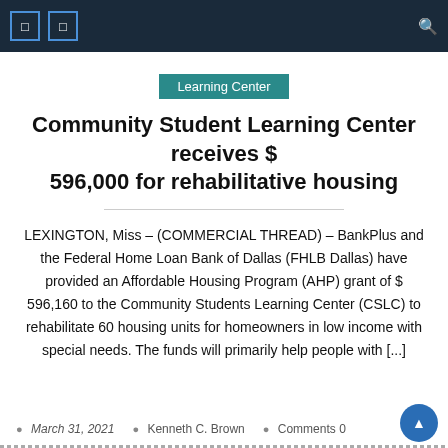Navigation bar with icons
Learning Center
Community Student Learning Center receives $ 596,000 for rehabilitative housing
LEXINGTON, Miss – (COMMERCIAL THREAD) – BankPlus and the Federal Home Loan Bank of Dallas (FHLB Dallas) have provided an Affordable Housing Program (AHP) grant of $ 596,160 to the Community Students Learning Center (CSLC) to rehabilitate 60 housing units for homeowners in low income with special needs. The funds will primarily help people with [...]
March 31, 2021  Kenneth C. Brown  Comments 0